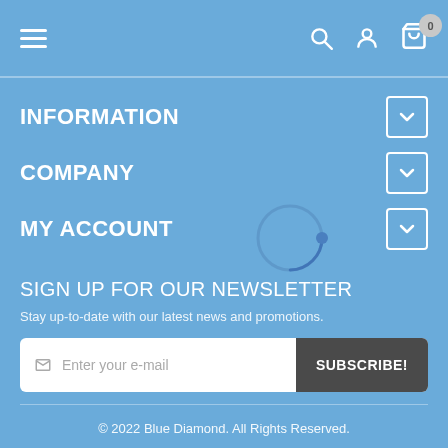Navigation bar with hamburger menu, search, account, and cart icons (0 items)
INFORMATION
COMPANY
MY ACCOUNT
SIGN UP FOR OUR NEWSLETTER
Stay up-to-date with our latest news and promotions.
Enter your e-mail  SUBSCRIBE!
© 2022 Blue Diamond. All Rights Reserved.